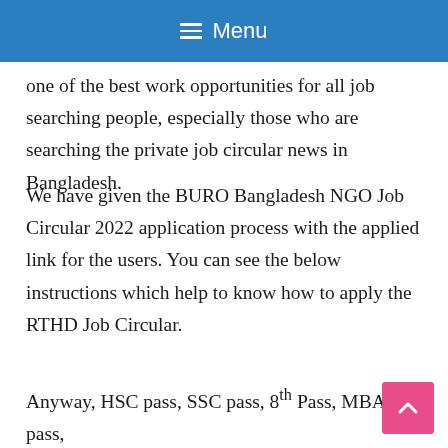Menu
one of the best work opportunities for all job searching people, especially those who are searching the private job circular news in Bangladesh.
We have given the BURO Bangladesh NGO Job Circular 2022 application process with the applied link for the users. You can see the below instructions which help to know how to apply the RTHD Job Circular.
Anyway, HSC pass, SSC pass, 8th Pass, MBA pass, BSC Engineer Diploma Engineer Grade